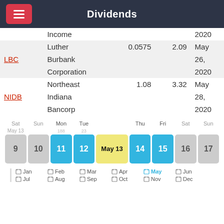Dividends
| Ticker | Name | Dividend | Yield | Date |
| --- | --- | --- | --- | --- |
|  | Income |  |  | 2020 |
| LBC | Luther Burbank Corporation | 0.0575 | 2.09 | May 26, 2020 |
| NIDB | Northeast Indiana Bancorp | 1.08 | 3.32 | May 28, 2020 |
[Figure (infographic): Calendar week view showing May 9-17, with May 13 highlighted in yellow as today, Mon-Fri (11-15) in blue, and weekends in gray. Above: week day labels Sat, Sun, Mon, Tue, Thu, Fri, Sat, Sun.]
Jan Feb Mar Apr May Jun Jul Aug Sep Oct Nov Dec